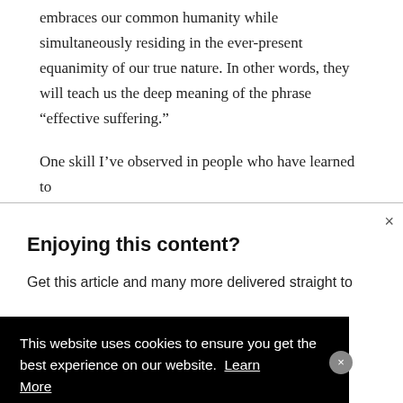embraces our common humanity while simultaneously residing in the ever-present equanimity of our true nature. In other words, they will teach us the deep meaning of the phrase “effective suffering.”
One skill I’ve observed in people who have learned to
Enjoying this content?
Get this article and many more delivered straight to
This website uses cookies to ensure you get the best experience on our website. Learn More